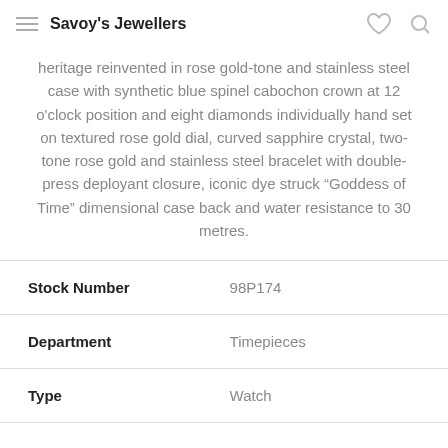Savoy's Jewellers
heritage reinvented in rose gold-tone and stainless steel case with synthetic blue spinel cabochon crown at 12 o'clock position and eight diamonds individually hand set on textured rose gold dial, curved sapphire crystal, two-tone rose gold and stainless steel bracelet with double-press deployant closure, iconic dye struck “Goddess of Time” dimensional case back and water resistance to 30 metres.
|  |  |
| --- | --- |
| Stock Number | 98P174 |
| Department | Timepieces |
| Type | Watch |